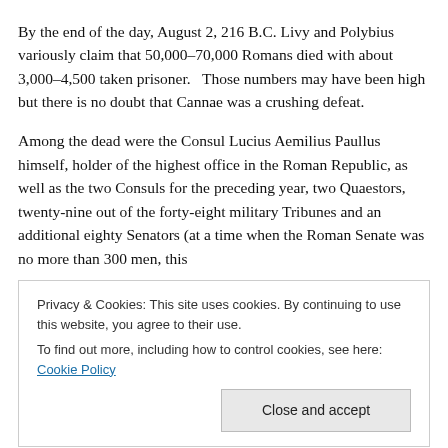By the end of the day, August 2, 216 B.C. Livy and Polybius variously claim that 50,000–70,000 Romans died with about 3,000–4,500 taken prisoner.   Those numbers may have been high but there is no doubt that Cannae was a crushing defeat.
Among the dead were the Consul Lucius Aemilius Paullus himself, holder of the highest office in the Roman Republic, as well as the two Consuls for the preceding year, two Quaestors, twenty-nine out of the forty-eight military Tribunes and an additional eighty Senators (at a time when the Roman Senate was no more than 300 men, this
Privacy & Cookies: This site uses cookies. By continuing to use this website, you agree to their use.
To find out more, including how to control cookies, see here: Cookie Policy
Close and accept
Senators. The modern Western analogy would be a